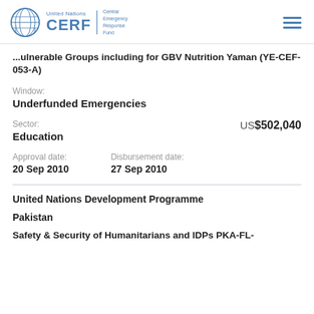United Nations CERF Central Emergency Response Fund
Vulnerable Groups including for GBV Nutrition Yaman (YE-CEF-053-A)
Window:
Underfunded Emergencies
Sector:
US$502,040
Education
Approval date:
20 Sep 2010
Disbursement date:
27 Sep 2010
United Nations Development Programme
Pakistan
Safety & Security of Humanitarians and IDPs PKA-FL-